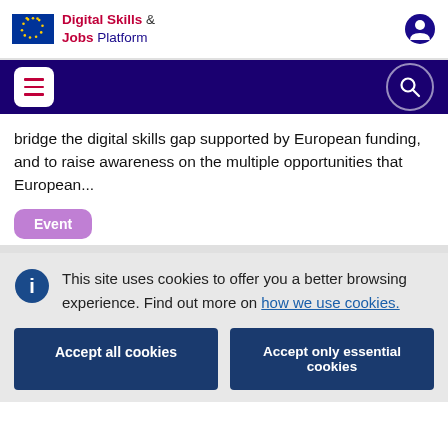Digital Skills & Jobs Platform
bridge the digital skills gap supported by European funding, and to raise awareness on the multiple opportunities that European...
Event
This site uses cookies to offer you a better browsing experience. Find out more on how we use cookies.
Accept all cookies
Accept only essential cookies